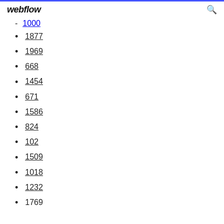webflow
1000
1877
1969
668
1454
671
1586
824
102
1509
1018
1232
1769